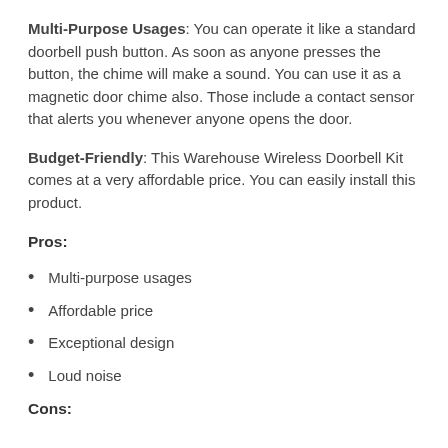Multi-Purpose Usages: You can operate it like a standard doorbell push button. As soon as anyone presses the button, the chime will make a sound. You can use it as a magnetic door chime also. Those include a contact sensor that alerts you whenever anyone opens the door.
Budget-Friendly: This Warehouse Wireless Doorbell Kit comes at a very affordable price. You can easily install this product.
Pros:
Multi-purpose usages
Affordable price
Exceptional design
Loud noise
Cons: